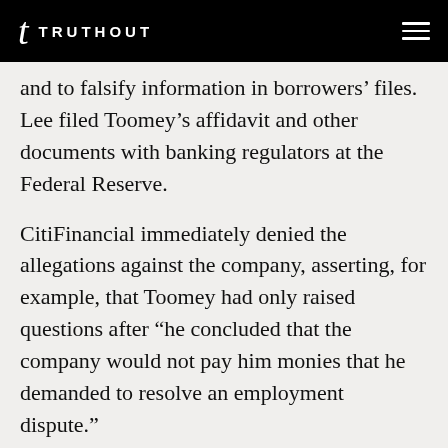TRUTHOUT
and to falsify information in borrowers’ files. Lee filed Toomey’s affidavit and other documents with banking regulators at the Federal Reserve.
CitiFinancial immediately denied the allegations against the company, asserting, for example, that Toomey had only raised questions after “he concluded that the company would not pay him monies that he demanded to resolve an employment dispute.”
With the pressure building, Citigroup went out